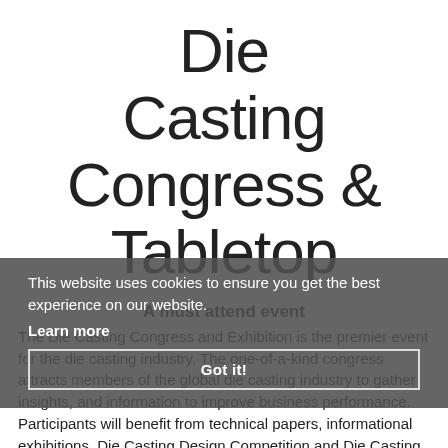Die Casting Congress & Tabletop
A must attend event
The Die Casting Congress and Exhibition is the premier event for the die casting industry. The one-of-a-kind congress attracts members of the global die casting industry to gather insights, and information to improve business performance. Participants will benefit from technical papers, informational exhibitions, Die Casting Design Competition and Die Casting Industry Awards Luncheon.
This website uses cookies to ensure you get the best experience on our website. Learn more Got it!